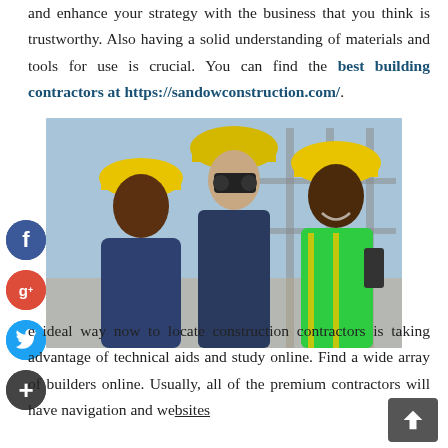and enhance your strategy with the business that you think is trustworthy. Also having a solid understanding of materials and tools for use is crucial. You can find the best building contractors at https://sandowconstruction.com/.
[Figure (photo): Three construction workers wearing yellow hard hats at a construction site. One is looking through binoculars, one is in a suit, and one is wearing a high-visibility vest and holding a radio.]
The ideal way now to locate construction contractors is taking advantage of technical aids and study online. Find a wide array of builders online. Usually, all of the premium contractors will have navigation and websites